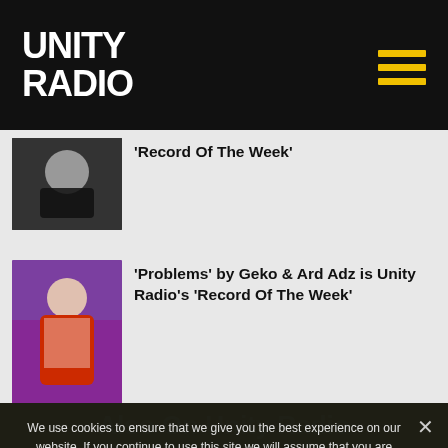UNITY RADIO
'Record Of The Week'
'Problems' by Geko & Ard Adz is Unity Radio's 'Record Of The Week'
Also On Unity Radio
We use cookies to ensure that we give you the best experience on our website. If you continue to use this site we will assume that you are happy with it.
Ok